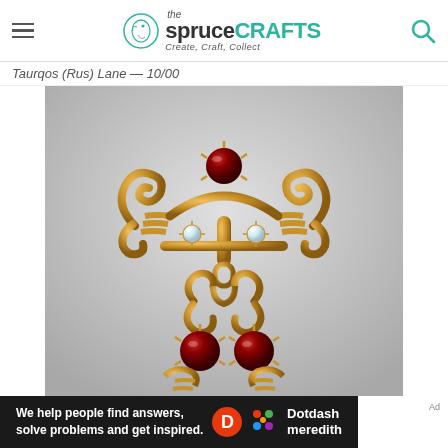the spruce CRAFTS — Create, Craft, Collect
Taurqos (Rus) Lane - 10/00
[Figure (photo): Close-up photo of a gold brooch/pin with red garnet gemstones and small clear diamonds. The piece features ornate swirling gold metalwork with two round red garnets — one at the top center and two at the bottom — along with small clear accent stones. The jewelry dangles slightly with decorative loop elements.]
We help people find answers, solve problems and get inspired.
[Figure (logo): Dotdash Meredith logo with orange D circle and colorful dots icon]